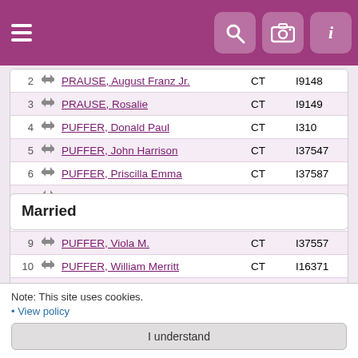Navigation bar with hamburger menu, search, camera, and info icons
| # |  | Name | State | ID |
| --- | --- | --- | --- | --- |
| 2 | ↔ | PRAUSE, August Franz Jr. | CT | I9148 |
| 3 | ↔ | PRAUSE, Rosalie | CT | I9149 |
| 4 | ↔ | PUFFER, Donald Paul | CT | I310 |
| 5 | ↔ | PUFFER, John Harrison | CT | I37547 |
| 6 | ↔ | PUFFER, Priscilla Emma | CT | I37587 |
| 7 | ↔ | PUFFER, Richard F. | CT | I35758 |
| 8 | ↔ | PUFFER, Robert Leach | CT | I34903 |
| 9 | ↔ | PUFFER, Viola M. | CT | I37557 |
| 10 | ↔ | PUFFER, William Merritt | CT | I16371 |
| 11 | ↔ | STENDER, Milanny Louise | CT | I12223 |
Married
Note: This site uses cookies.
• View policy
I understand